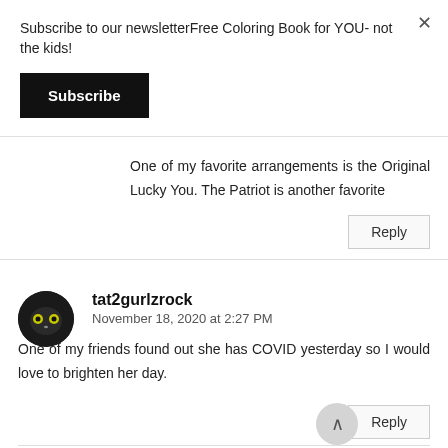Subscribe to our newsletterFree Coloring Book for YOU- not the kids!
Subscribe
One of my favorite arrangements is the Original Lucky You. The Patriot is another favorite
Reply
tat2gurlzrock
November 18, 2020 at 2:27 PM
One of my friends found out she has COVID yesterday so I would love to brighten her day.
Reply